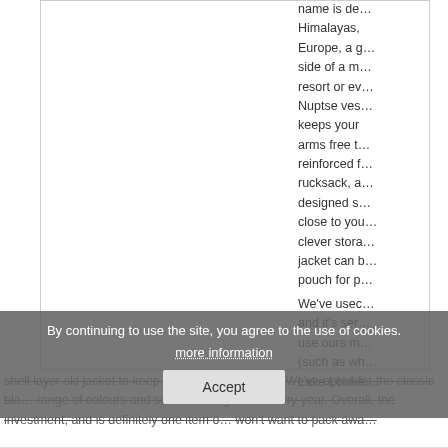[Figure (photo): White/blank image area with thin gray border, representing a product photo placeholder]
name is de... Himalayas, Europe, a g... side of a m... resort or ev... Nuptse ves... keeps your arms free t... reinforced f... rucksack, a... designed s... close to you... clever stora... jacket can b... pouch for p...
We've useo... and it's ser... use ours m... (such as wh... Lake Louise...
shell layer ski jacket to keep us warm on the piste. We've opted for the classic bla... range of colours and seem to bring out... every year. Overall, the investment, and is definitely one item o... won't want to pack awa...
By continuing to use the site, you agree to the use of cookies. more information
Accept